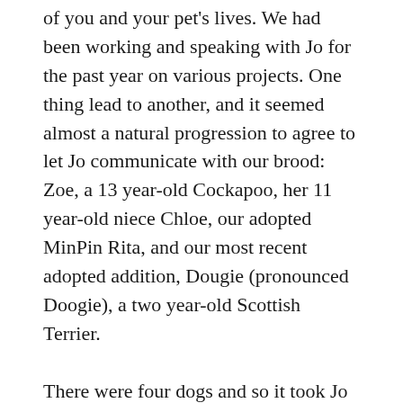of you and your pet's lives. We had been working and speaking with Jo for the past year on various projects. One thing lead to another, and it seemed almost a natural progression to agree to let Jo communicate with our brood: Zoe, a 13 year-old Cockapoo, her 11 year-old niece Chloe, our adopted MinPin Rita, and our most recent adopted addition, Dougie (pronounced Doogie), a two year-old Scottish Terrier.
There were four dogs and so it took Jo a little longer to assess the situation and discern their different personalities. “I took a deep breath before looking at each photograph you sent of the dogs,” said Jo, who told us she took classes to learn how to communicate through the eyes